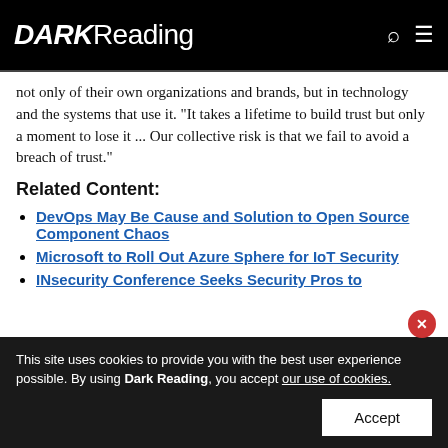DARK Reading
not only of their own organizations and brands, but in technology and the systems that use it. "It takes a lifetime to build trust but only a moment to lose it ... Our collective risk is that we fail to avoid a breach of trust."
Related Content:
DevOps May Be Cause and Solution to Open Source Component Chaos
Microsoft to Roll Out Azure Sphere for IoT Security
INsecurity Conference Seeks Security Pros to
This site uses cookies to provide you with the best user experience possible. By using Dark Reading, you accept our use of cookies.